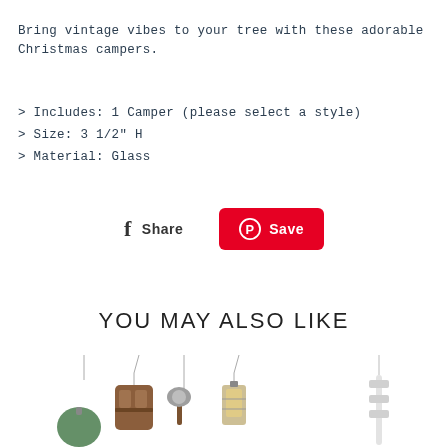Bring vintage vibes to your tree with these adorable Christmas campers.
> Includes: 1 Camper (please select a style)
> Size: 3 1/2" H
> Material: Glass
[Figure (other): Social sharing buttons: Facebook Share button and Pinterest Save button (red)]
YOU MAY ALSO LIKE
[Figure (photo): Row of Christmas ornament product images including camping-themed glass ornaments (backpack, axe, lantern, and a thin white ornament on the right)]